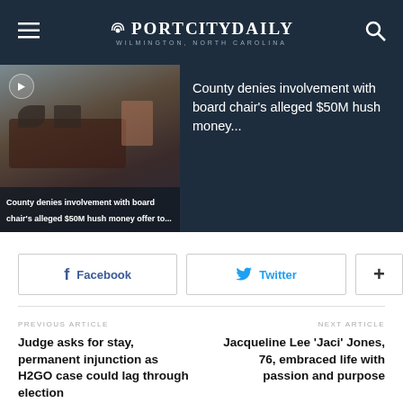PortCityDaily — Wilmington, North Carolina
[Figure (photo): Meeting room scene with people seated around a conference table, with text overlay: County denies involvement with board chair's alleged $50M hush money offer to...]
County denies involvement with board chair's alleged $50M hush money...
Facebook  Twitter  +
PREVIOUS ARTICLE
Judge asks for stay, permanent injunction as H2GO case could lag through election
NEXT ARTICLE
Jacqueline Lee 'Jaci' Jones, 76, embraced life with passion and purpose